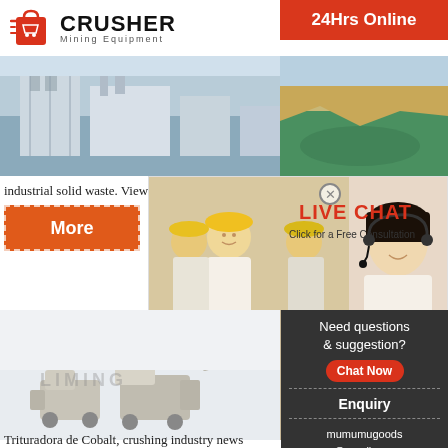[Figure (logo): Crusher Mining Equipment logo with red shopping bag icon and bold CRUSHER text]
[Figure (photo): Industrial facility / solid waste processing plant - blue-gray tones]
[Figure (photo): Green water pond / quarry - aerial view]
industrial solid waste. View Details Send Enquir
[Figure (infographic): Live Chat popup with engineers in yellow hard hats, LIVE CHAT title in red, Click for a Free Consultation, Chat now and Chat later buttons, customer service woman with headset]
24Hrs Online
More
[Figure (photo): Mining machinery / crusher equipment on white/gray background with LIMING watermark]
[Figure (photo): Industrial cone crusher machine]
Need questions & suggestion?
Chat Now
Enquiry
mumumugoods@gmail.com
Trituradora de Cobalt, crushing industry news